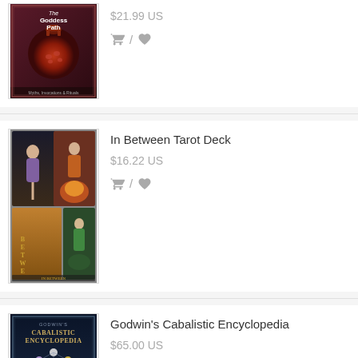[Figure (photo): Book cover: The Goddess Path, with pomegranate imagery]
$21.99 US
[Figure (photo): Tarot deck package: In Between Tarot Deck, showing multiple tarot cards]
In Between Tarot Deck
$16.22 US
[Figure (photo): Book cover: Godwin's Cabalistic Encyclopedia, dark blue with Tree of Life diagram]
Godwin's Cabalistic Encyclopedia
$65.00 US